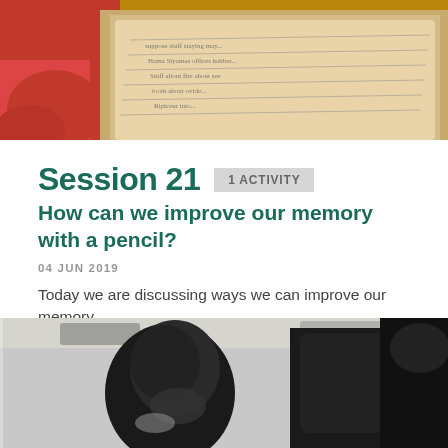[Figure (photo): Photo of an open notebook/journal with handwritten notes and a red mug, on a wooden surface]
Session 21
1 ACTIVITY
How can we improve our memory with a pencil?
04 JUN 2019
Today we are discussing ways we can improve our memory.
אאאאאאאאאא אאא אאאאאאאא אאאאאא אאאאאא אאאאאא אאאאא אאאאא אאאאא אאאא.
[Figure (photo): Photo of a young man smiling while washing or cleaning a car]